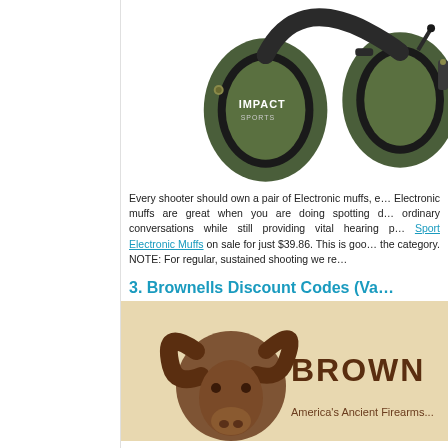[Figure (photo): Green and black Impact Sport electronic hearing protection earmuffs on white background]
Every shooter should own a pair of Electronic muffs, e… Electronic muffs are great when you are doing spotting o… ordinary conversations while still providing vital hearing p… Sport Electronic Muffs on sale for just $39.86. This is goo… the category. NOTE: For regular, sustained shooting we re…
3. Brownells Discount Codes (Va…
[Figure (logo): Brownells logo — brown ram illustration on tan/beige textured background with BROWNELLS text in brown lettering]